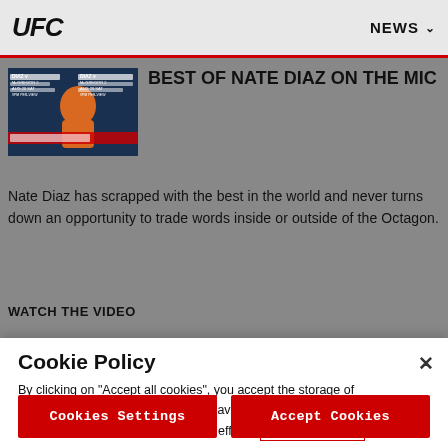UFC  NEWS
[Figure (screenshot): UFC article thumbnail showing Nate Diaz vs McGregor 2 promotional image with fighter in orange jacket]
BEST OF NATE DIAZ ON THE MIC
Nate Diaz has scrapped with the best in the world and never turns down an opportunity to trade words inside or outside of the Octagon.
WATCH THE VIDEO
Cookie Policy
By clicking on "Accept all cookies", you accept the storage of cookies on your device to improve navigation on the site, analyze its use and contribute to our marketing efforts. Cookie Policy
Cookies Settings  Accept Cookies